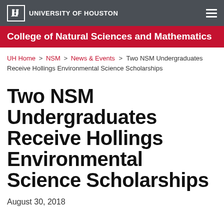UNIVERSITY OF HOUSTON
College of Natural Sciences and Mathematics
UH Home > NSM > News & Events > Two NSM Undergraduates Receive Hollings Environmental Science Scholarships
Two NSM Undergraduates Receive Hollings Environmental Science Scholarships
August 30, 2018